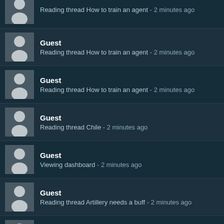Guest - Reading thread How to train an agent - 2 minutes ago
Guest - Reading thread How to train an agent - 2 minutes ago
Guest - Reading thread How to train an agent - 2 minutes ago
Guest - Reading thread Chile - 2 minutes ago
Guest - Viewing dashboard - 2 minutes ago
Guest - Reading thread Artillery needs a buff - 2 minutes ago
Guest - Reading thread ACTUALITÉS et MISES A JOUR traduites en FRANÇAIS - 3 minutes ago
Guest - (partial, cut off)